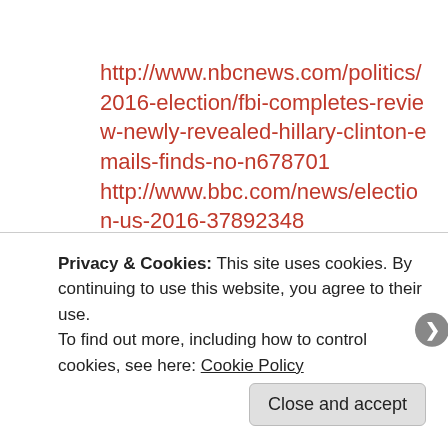http://www.nbcnews.com/politics/2016-election/fbi-completes-review-newly-revealed-hillary-clinton-emails-finds-no-n678701 http://www.bbc.com/news/election-us-2016-37892348
Sponsored Content
[Figure (other): Sponsored content advertisement image area with gray gradient background]
Privacy & Cookies: This site uses cookies. By continuing to use this website, you agree to their use.
To find out more, including how to control cookies, see here: Cookie Policy
Close and accept